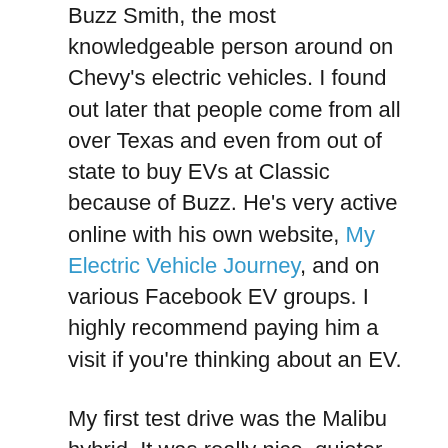Buzz Smith, the most knowledgeable person around on Chevy's electric vehicles. I found out later that people come from all over Texas and even from out of state to buy EVs at Classic because of Buzz. He's very active online with his own website, My Electric Vehicle Journey, and on various Facebook EV groups. I highly recommend paying him a visit if you're thinking about an EV.
My first test drive was the Malibu hybrid. It was really nice, quieter than my G6, and if the primary goal was a large luxury sedan that gets great gas mileage, it would be the way to go. Next I drove a Volt hybrid but I didn't care for it at all. It's much noisier than my G6 and has a cramped interior. It does get good mileage but not good enough to overcome the drawbacks. I returned a few days later to test drive a Bolt EV. The Bolt was